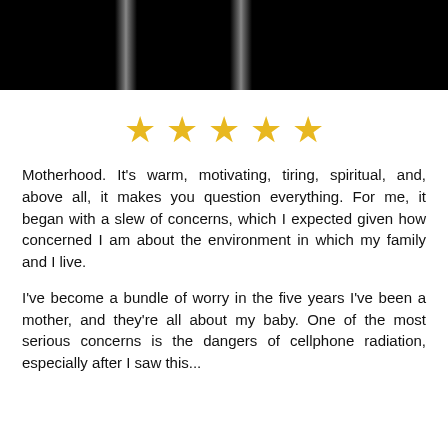[Figure (photo): Dark/black image at the top of the page with subtle vertical light streaks]
[Figure (other): Five gold/yellow star rating icons arranged in a row]
Motherhood. It's warm, motivating, tiring, spiritual, and, above all, it makes you question everything. For me, it began with a slew of concerns, which I expected given how concerned I am about the environment in which my family and I live.
I've become a bundle of worry in the five years I've been a mother, and they're all about my baby. One of the most serious concerns is the dangers of cellphone radiation, especially after I saw this...